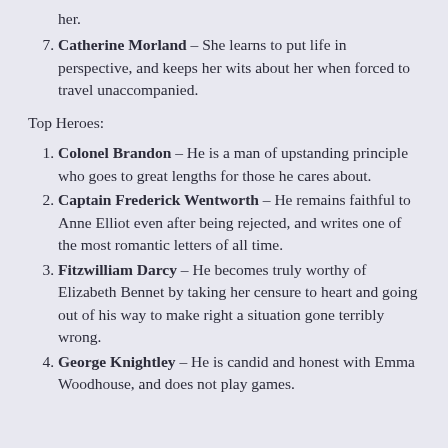her.
Catherine Morland – She learns to put life in perspective, and keeps her wits about her when forced to travel unaccompanied.
Top Heroes:
Colonel Brandon – He is a man of upstanding principle who goes to great lengths for those he cares about.
Captain Frederick Wentworth – He remains faithful to Anne Elliot even after being rejected, and writes one of the most romantic letters of all time.
Fitzwilliam Darcy – He becomes truly worthy of Elizabeth Bennet by taking her censure to heart and going out of his way to make right a situation gone terribly wrong.
George Knightley – He is candid and honest with Emma Woodhouse, and does not play games.